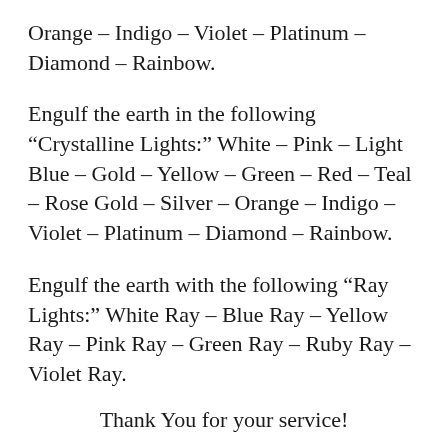Orange – Indigo – Violet – Platinum – Diamond – Rainbow.
Engulf the earth in the following “Crystalline Lights:” White – Pink – Light Blue – Gold – Yellow – Green – Red – Teal – Rose Gold – Silver – Orange – Indigo – Violet – Platinum – Diamond – Rainbow.
Engulf the earth with the following “Ray Lights:” White Ray – Blue Ray – Yellow Ray – Pink Ray – Green Ray – Ruby Ray – Violet Ray.
Thank You for your service!